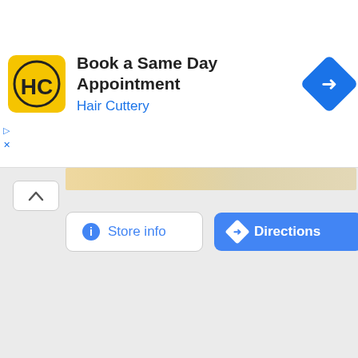[Figure (screenshot): Hair Cuttery advertisement banner with yellow HC logo, text 'Book a Same Day Appointment' and 'Hair Cuttery', and a blue diamond directions icon.]
[Figure (screenshot): Mobile UI showing a store panel with a chevron up button, a 'Store info' button with info icon, and a 'Directions' button with directions icon on blue background.]
[Figure (photo): Close-up photo of a rough ball of dough on a pink/mauve surface, showing a lumpy white flour dough mass.]